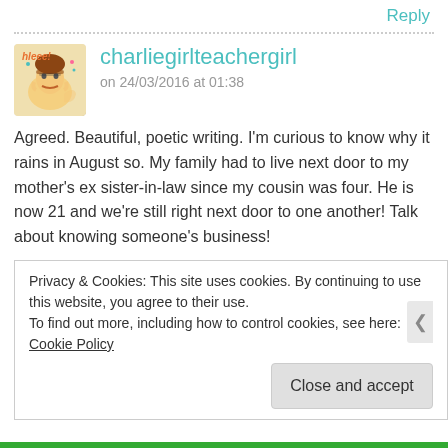Reply
charliegirlteachergirl
on 24/03/2016 at 01:38
Agreed. Beautiful, poetic writing. I'm curious to know why it rains in August so. My family had to live next door to my mother's ex sister-in-law since my cousin was four. He is now 21 and we're still right next door to one another! Talk about knowing someone's business!
Reply
Privacy & Cookies: This site uses cookies. By continuing to use this website, you agree to their use.
To find out more, including how to control cookies, see here:
Cookie Policy
Close and accept